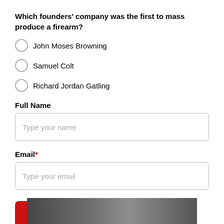Which founders' company was the first to mass produce a firearm?
John Moses Browning
Samuel Colt
Richard Jordan Gatling
Full Name
Type your name
Email*
Type your email
Submit
[Figure (photo): Partial image visible at the bottom of the page, appears to be a dark photograph]